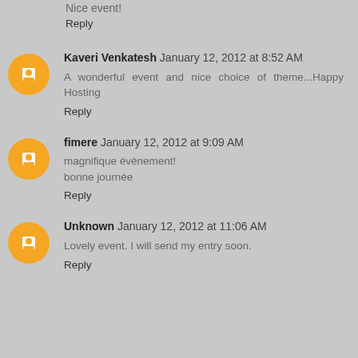Nice event!
Reply
Kaveri Venkatesh  January 12, 2012 at 8:52 AM
A wonderful event and nice choice of theme...Happy Hosting
Reply
fimere  January 12, 2012 at 9:09 AM
magnifique évènement!
bonne journée
Reply
Unknown  January 12, 2012 at 11:06 AM
Lovely event. I will send my entry soon.
Reply